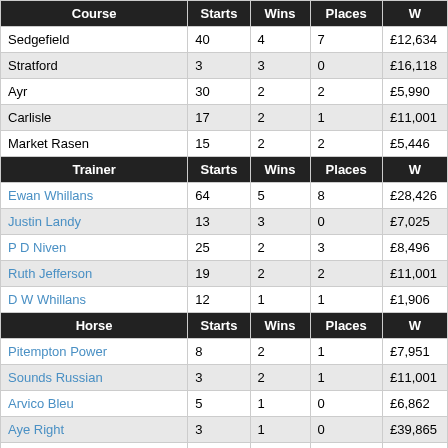| Course | Starts | Wins | Places | W |
| --- | --- | --- | --- | --- |
| Sedgefield | 40 | 4 | 7 | £12,634 |
| Stratford | 3 | 3 | 0 | £16,118 |
| Ayr | 30 | 2 | 2 | £5,990 |
| Carlisle | 17 | 2 | 1 | £11,001 |
| Market Rasen | 15 | 2 | 2 | £5,446 |
| Trainer | Starts | Wins | Places | W |
| --- | --- | --- | --- | --- |
| Ewan Whillans | 64 | 5 | 8 | £28,426 |
| Justin Landy | 13 | 3 | 0 | £7,025 |
| P D Niven | 25 | 2 | 3 | £8,496 |
| Ruth Jefferson | 19 | 2 | 2 | £11,001 |
| D W Whillans | 12 | 1 | 1 | £1,906 |
| Horse | Starts | Wins | Places | W |
| --- | --- | --- | --- | --- |
| Pitempton Power | 8 | 2 | 1 | £7,951 |
| Sounds Russian | 3 | 2 | 1 | £11,001 |
| Arvico Bleu | 5 | 1 | 0 | £6,862 |
| Aye Right | 3 | 1 | 0 | £39,865 |
| Bavington Bob | 1 | 1 | 0 | £3,594 |
Data available from 06 October 2013.
Distance beaten is rounded to nearest 1/4 length for distances below 20 lengths and near
The Best Odds registration service is not available to US residents. AT THE RACES is